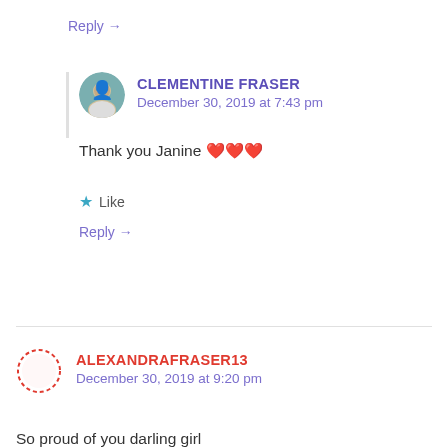Reply →
CLEMENTINE FRASER
December 30, 2019 at 7:43 pm
Thank you Janine ❤️❤️❤️
★ Like
Reply →
ALEXANDRAFRASER13
December 30, 2019 at 9:20 pm
So proud of you darling girl